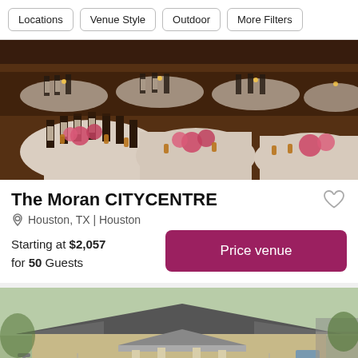Locations
Venue Style
Outdoor
More Filters
[Figure (photo): Elegant banquet hall with round tables covered in white linens, pink floral centerpieces, and amber-colored glassware, with chiavari chairs.]
The Moran CITYCENTRE
Houston, TX | Houston
Starting at $2,057 for 50 Guests
[Figure (photo): Exterior of a beige and stone building with a covered entrance portico, arched windows, a dark gray roof, and green landscaping.]